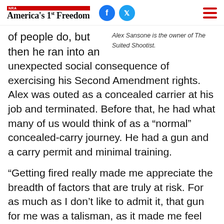NRA America's 1st Freedom
of people do, but then he ran into an unexpected social consequence of exercising his Second Amendment rights. Alex was outed as a concealed carrier at his job and terminated. Before that, he had what many of us would think of as a “normal” concealed-carry journey. He had a gun and a carry permit and minimal training.
Alex Sansone is the owner of The Suited Shootist.
“Getting fired really made me appreciate the breadth of factors that are truly at risk. For as much as I don’t like to admit it, that gun for me was a talisman, as it made me feel better. And so now I take a more realistic, holistic look at whatever my risk profile is,” said Alex.